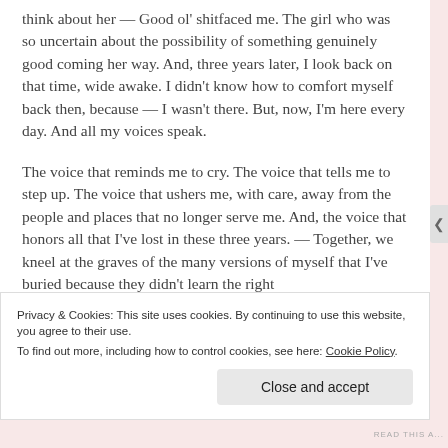think about her — Good ol' shitfaced me. The girl who was so uncertain about the possibility of something genuinely good coming her way. And, three years later, I look back on that time, wide awake. I didn't know how to comfort myself back then, because — I wasn't there. But, now, I'm here every day. And all my voices speak.
The voice that reminds me to cry. The voice that tells me to step up. The voice that ushers me, with care, away from the people and places that no longer serve me. And, the voice that honors all that I've lost in these three years. — Together, we kneel at the graves of the many versions of myself that I've buried because they didn't learn the right
Privacy & Cookies: This site uses cookies. By continuing to use this website, you agree to their use.
To find out more, including how to control cookies, see here: Cookie Policy
Close and accept